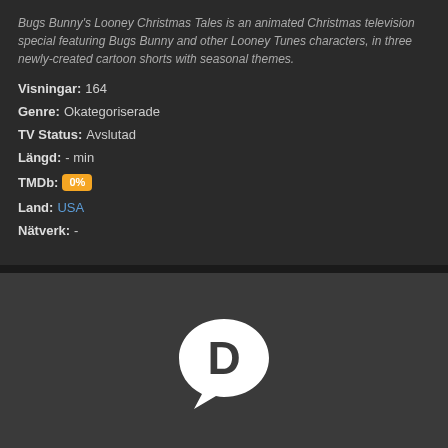Bugs Bunny's Looney Christmas Tales is an animated Christmas television special featuring Bugs Bunny and other Looney Tunes characters, in three newly-created cartoon shorts with seasonal themes.
Visningar: 164
Genre: Okategoriserade
TV Status: Avslutad
Längd: - min
TMDb: 0%
Land: USA
Nätverk: -
[Figure (logo): Disqus logo - white letter D inside a speech bubble on dark gray background]
Du kanske också gillar